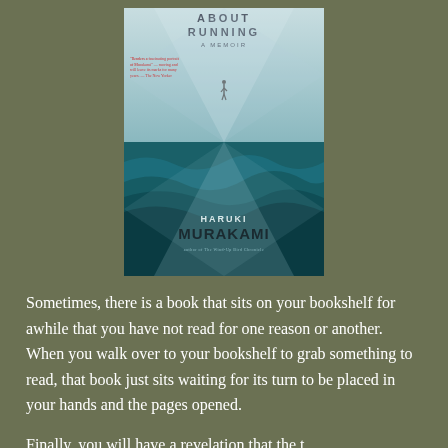[Figure (illustration): Book cover of 'What I Talk About When I Talk About Running: A Memoir' by Haruki Murakami. Shows a runner silhouette against a sky with clouds on the top half, and ocean waves on the bottom half, with an X/triangle geometric overlay. Red review quote on the left side.]
Sometimes, there is a book that sits on your bookshelf for awhile that you have not read for one reason or another. When you walk over to your bookshelf to grab something to read, that book just sits waiting for its turn to be placed in your hands and the pages opened.
Finally, you will have a revelation that the t...